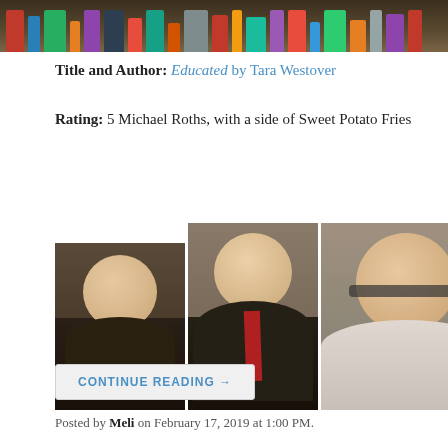[Figure (photo): Banner image showing book spines on a shelf]
Title and Author: Educated by Tara Westover
Rating: 5 Michael Roths, with a side of Sweet Potato Fries
[Figure (photo): Row of five photos of Michael Roth in various poses and settings]
CONTINUE READING →
Posted by Meli on February 17, 2019 at 1:00 PM.